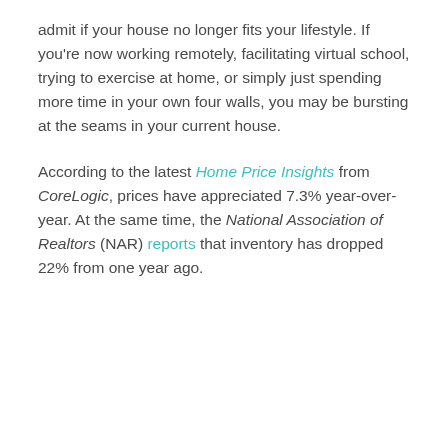admit if your house no longer fits your lifestyle. If you're now working remotely, facilitating virtual school, trying to exercise at home, or simply just spending more time in your own four walls, you may be bursting at the seams in your current house.
According to the latest Home Price Insights from CoreLogic, prices have appreciated 7.3% year-over-year. At the same time, the National Association of Realtors (NAR) reports that inventory has dropped 22% from one year ago.